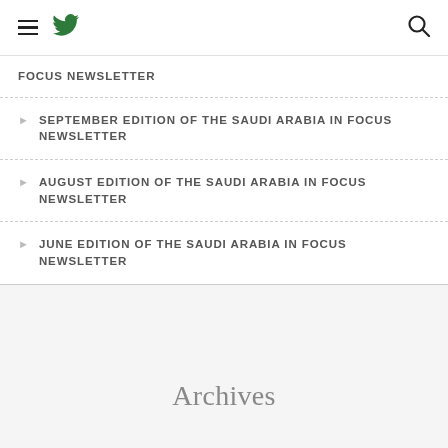hamburger menu | twitter icon | search icon
FOCUS NEWSLETTER
SEPTEMBER EDITION OF THE SAUDI ARABIA IN FOCUS NEWSLETTER
AUGUST EDITION OF THE SAUDI ARABIA IN FOCUS NEWSLETTER
JUNE EDITION OF THE SAUDI ARABIA IN FOCUS NEWSLETTER
Archives